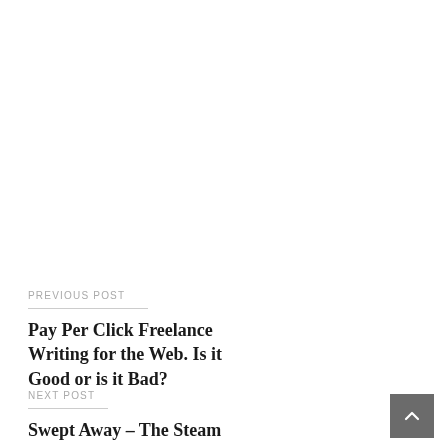PREVIOUS POST
Pay Per Click Freelance Writing for the Web. Is it Good or is it Bad?
NEXT POST
Swept Away – The Steam